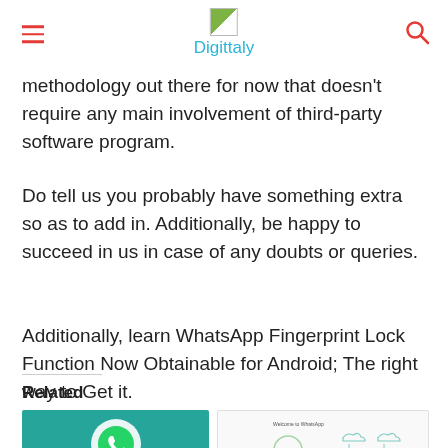Digittaly
methodology out there for now that doesn’t require any main involvement of third-party software program.
Do tell us you probably have something extra so as to add in. Additionally, be happy to succeed in us in case of any doubts or queries.
Additionally, learn WhatsApp Fingerprint Lock Function Now Obtainable for Android; The right way to Get it.
Related
[Figure (photo): WhatsApp logo on teal/green background showing phone handset icon in white circle]
[Figure (screenshot): Welcome to WhatsApp screenshot with QR code and cloud icons]